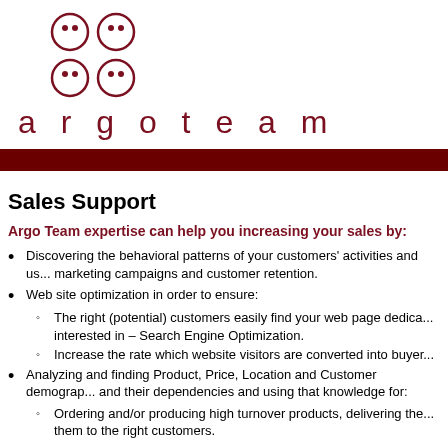[Figure (logo): Argo Team logo: four circles arranged in a 2x2 grid, each with two small dots inside, in dark red/maroon color]
argoteam
Sales Support
Argo Team expertise can help you increasing your sales by:
Discovering the behavioral patterns of your customers' activities and us... marketing campaigns and customer retention.
Web site optimization in order to ensure:
The right (potential) customers easily find your web page dedica... interested in – Search Engine Optimization.
Increase the rate which website visitors are converted into buyer...
Analyzing and finding Product, Price, Location and Customer demograp... and their dependencies and using that knowledge for:
Ordering and/or producing high turnover products, delivering the... them to the right customers.